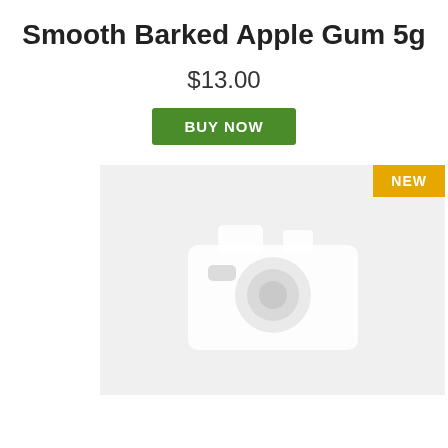Smooth Barked Apple Gum 5g
$13.00
BUY NOW
[Figure (photo): Placeholder product image with camera icon and NEW badge in top right corner]